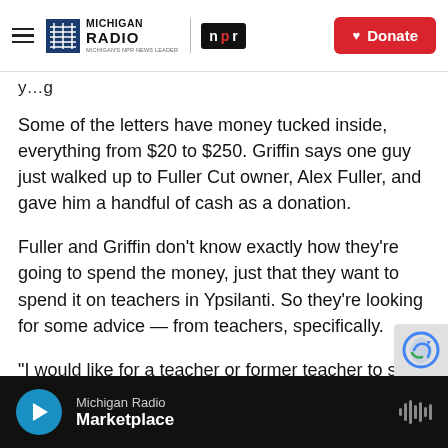Michigan Radio | NPR | Donate
y...g
Some of the letters have money tucked inside, everything from $20 to $250. Griffin says one guy just walked up to Fuller Cut owner, Alex Fuller, and gave him a handful of cash as a donation.
Fuller and Griffin don't know exactly how they're going to spend the money, just that they want to spend it on teachers in Ypsilanti. So they're looking for some advice — from teachers, specifically.
"I would like for a teacher or former teacher to say, 'Hey, when I was teaching, this made my day
Michigan Radio | Marketplace